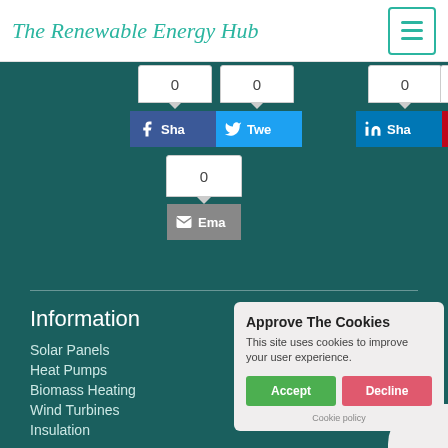The Renewable Energy Hub
[Figure (screenshot): Social share buttons row with counters showing 0 for Facebook Share, Twitter Tweet, LinkedIn Share, Pinterest Pin, and Email]
Information
Solar Panels
Heat Pumps
Biomass Heating
Wind Turbines
Insulation
Approve The Cookies
This site uses cookies to improve your user experience.
Accept | Decline
Cookie policy